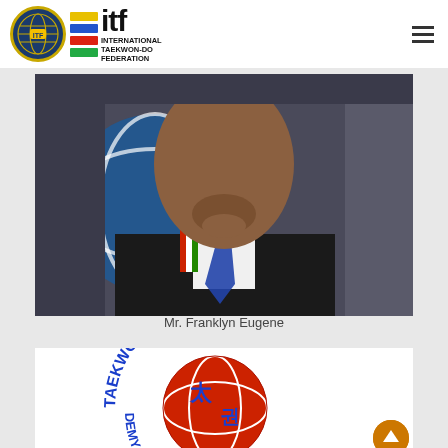International Taekwon-Do Federation
[Figure (photo): Close-up photograph of Mr. Franklyn Eugene wearing a suit with medals/lanyards around his neck, with an ITF globe logo banner in the background]
Mr. Franklyn Eugene
[Figure (logo): Circular Taekwon-Do Academy logo with blue text reading TAEKWON-DO ACA around the edge and Korean characters in the center on a red circular background with a red and white globe logo]